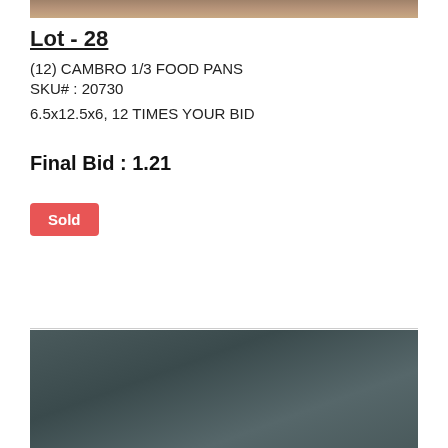[Figure (photo): Top partial photo of auction item, brown/tan object]
Lot - 28
(12) CAMBRO 1/3 FOOD PANS
SKU# : 20730
6.5x12.5x6, 12 TIMES YOUR BID
Final Bid : 1.21
Sold
[Figure (photo): Photo of stacked Cambro 1/3 food pans, dark grey/charcoal color, on a table with dark curtain backdrop. Navigation arrows visible on left and right sides.]